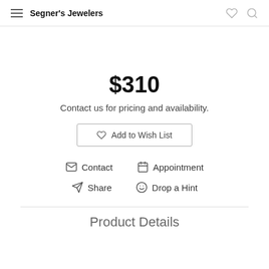Segner's Jewelers
$310
Contact us for pricing and availability.
Add to Wish List
Contact   Appointment
Share   Drop a Hint
Product Details